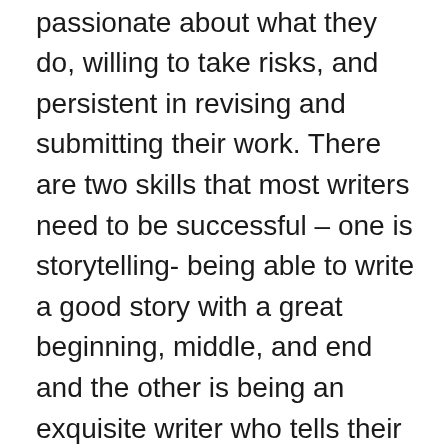craft, who are patient, passionate about what they do, willing to take risks, and persistent in revising and submitting their work. There are two skills that most writers need to be successful – one is storytelling- being able to write a good story with a great beginning, middle, and end and the other is being an exquisite writer who tells their story with perfectly fabulous writing. I've seen lots of great storytellers who have passages of exquisite writing but it's overall choppy. The best writers are those who really know the craft of writing so that every word is pitch perfect. This is why Sudipta and I created From Storyteller to Exquisite Writer: The Pleasures and Craft of Poetic Technique – to answer that need. While we will be covering the storytelling elements as we walk students through writing their manuscript, the heart of the course is exquisite writing, whether that be humorous writing,